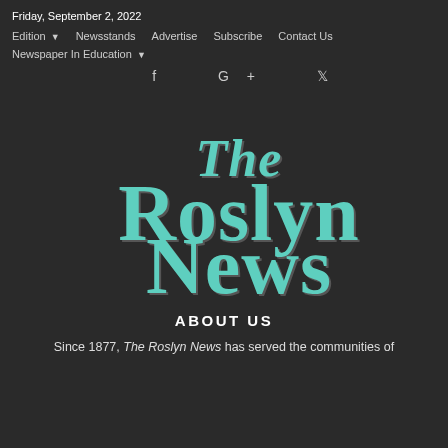Friday, September 2, 2022
Edition  Newsstands  Advertise  Subscribe  Contact Us
Newspaper In Education
[Figure (logo): The Roslyn News masthead logo in teal/turquoise old-English blackletter font on dark background]
ABOUT US
Since 1877, The Roslyn News has served the communities of